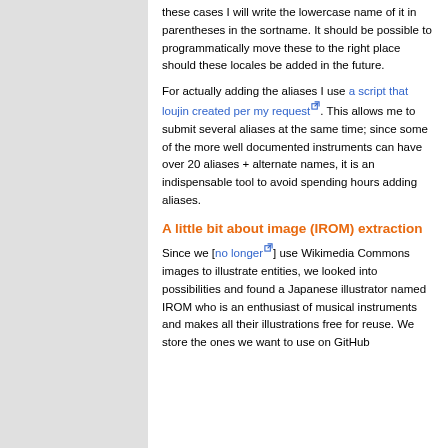these cases I will write the lowercase name of it in parentheses in the sortname. It should be possible to programmatically move these to the right place should these locales be added in the future.
For actually adding the aliases I use a script that loujin created per my request [external link]. This allows me to submit several aliases at the same time; since some of the more well documented instruments can have over 20 aliases + alternate names, it is an indispensable tool to avoid spending hours adding aliases.
A little bit about image (IROM) extraction
Since we [no longer [external link]] use Wikimedia Commons images to illustrate entities, we looked into possibilities and found a Japanese illustrator named IROM who is an enthusiast of musical instruments and makes all their illustrations free for reuse. We store the ones we want to use on GitHub